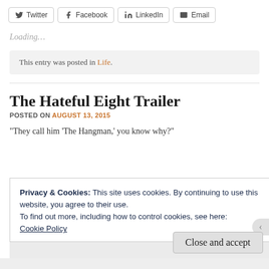Twitter | Facebook | LinkedIn | Email (share buttons)
Loading...
This entry was posted in Life.
The Hateful Eight Trailer
POSTED ON AUGUST 13, 2015
“They call him ‘The Hangman,’ you know why?”
Privacy & Cookies: This site uses cookies. By continuing to use this website, you agree to their use.
To find out more, including how to control cookies, see here: Cookie Policy
Close and accept